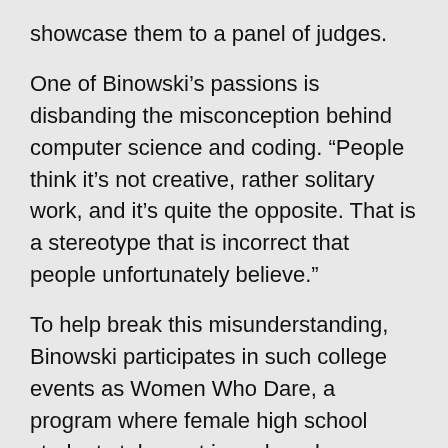showcase them to a panel of judges.
One of Binowski’s passions is disbanding the misconception behind computer science and coding. “People think it’s not creative, rather solitary work, and it’s quite the opposite. That is a stereotype that is incorrect that people unfortunately believe.”
To help break this misunderstanding, Binowski participates in such college events as Women Who Dare, a program where female high school students take part in an hour long coding session. Binowski also sponsors the Hour of Code which exposes people to coding and makes it accessible to them.
“Technology changes every day, every second,”